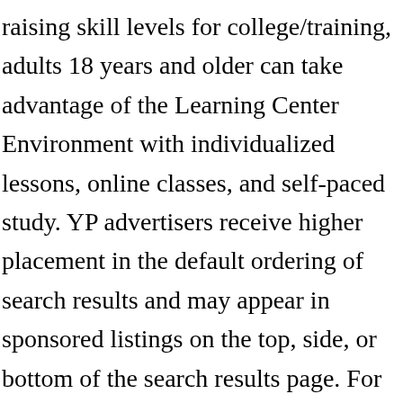raising skill levels for college/training, adults 18 years and older can take advantage of the Learning Center Environment with individualized lessons, online classes, and self-paced study. YP advertisers receive higher placement in the default ordering of search results and may appear in sponsored listings on the top, side, or bottom of the search results page. For adults who failed to finish their regular high school education, acquiring their GED diploma is a great first step. Trademark Disclaimer. Please contact the business for updated